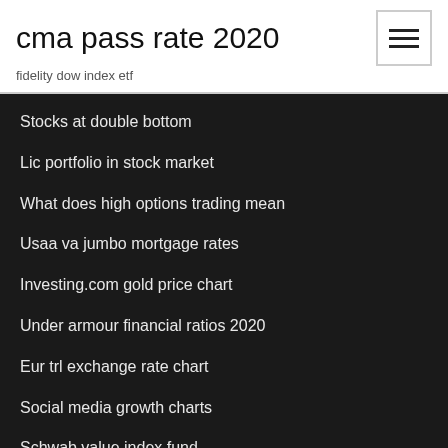cma pass rate 2020
fidelity dow index etf
Stocks at double bottom
Lic portfolio in stock market
What does high options trading mean
Usaa va jumbo mortgage rates
Investing.com gold price chart
Under armour financial ratios 2020
Eur trl exchange rate chart
Social media growth charts
Schwab value index fund
Loan origination fee deductible irs